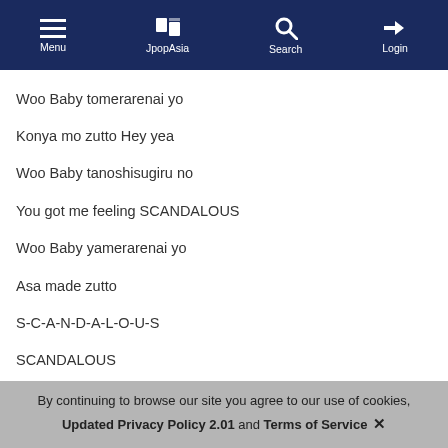Menu | JpopAsia | Search | Login
Woo Baby tomerarenai yo
Konya mo zutto Hey yea
Woo Baby tanoshisugiru no
You got me feeling SCANDALOUS
Woo Baby yamerarenai yo
Asa made zutto
S-C-A-N-D-A-L-O-U-S
SCANDALOUS
You got me feeling like
I wanna be so scandalous
S-C-A-N-D-A-L-O-U-S
SCANDALOUS
Take off your clothes and
Let me touch you like I'm scandalous!
Woo Baby doushiyou mo nai no
You got me feeling SCANDALOUS
By continuing to browse our site you agree to our use of cookies, Updated Privacy Policy 2.01 and Terms of Service ✕